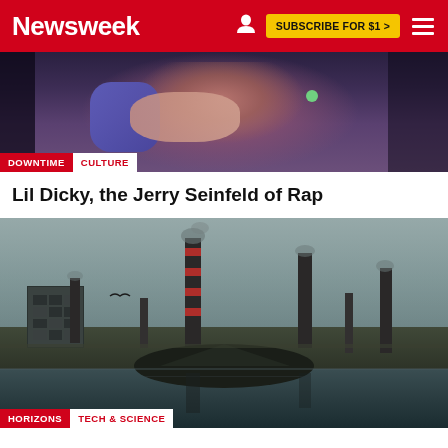Newsweek | SUBSCRIBE FOR $1 >
[Figure (photo): Person in purple athletic wear with arms folded, dark industrial background]
DOWNTIME CULTURE
Lil Dicky, the Jerry Seinfeld of Rap
[Figure (photo): Industrial landscape with tall brick chimneys emitting smoke, building on left, water in foreground reflecting the scene, overcast sky]
HORIZONS TECH & SCIENCE